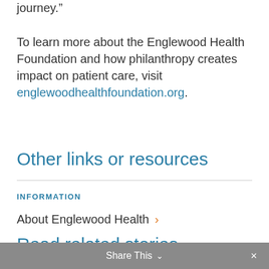journey.”
To learn more about the Englewood Health Foundation and how philanthropy creates impact on patient care, visit englewoodhealthfoundation.org.
Other links or resources
INFORMATION
About Englewood Health ›
Read related stories
Share This ∨ ×